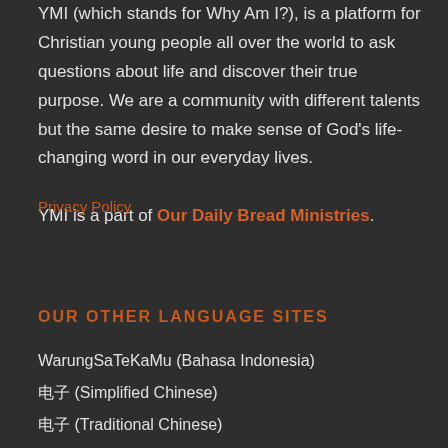YMI (which stands for Why Am I?), is a platform for Christian young people all over the world to ask questions about life and discover their true purpose. We are a community with different talents but the same desire to make sense of God's life-changing word in our everyday lives.

YMI is a part of Our Daily Bread Ministries.
Privacy Policy
OUR OTHER LANGUAGE SITES
WarungSaTeKaMu (Bahasa Indonesia)
电子 (Simplified Chinese)
电子 (Traditional Chinese)